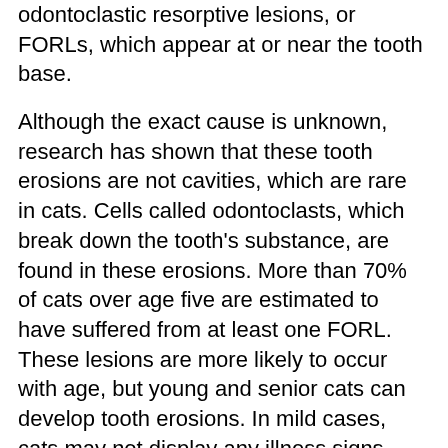odontoclastic resorptive lesions, or FORLs, which appear at or near the tooth base.
Although the exact cause is unknown, research has shown that these tooth erosions are not cavities, which are rare in cats. Cells called odontoclasts, which break down the tooth's substance, are found in these erosions. More than 70% of cats over age five are estimated to have suffered from at least one FORL. These lesions are more likely to occur with age, but young and senior cats can develop tooth erosions. In mild cases, cats may not display any illness signs until the disease progresses.
Signs of feline odontoclastic resorptive lesions
Cats are excellent at hiding pain, but FORLs